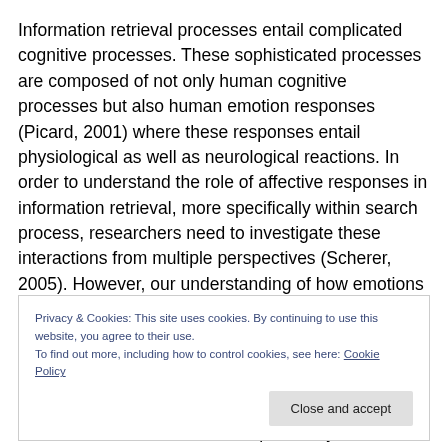Information retrieval processes entail complicated cognitive processes. These sophisticated processes are composed of not only human cognitive processes but also human emotion responses (Picard, 2001) where these responses entail physiological as well as neurological reactions. In order to understand the role of affective responses in information retrieval, more specifically within search process, researchers need to investigate these interactions from multiple perspectives (Scherer, 2005). However, our understanding of how emotions affect
Privacy & Cookies: This site uses cookies. By continuing to use this website, you agree to their use.
To find out more, including how to control cookies, see here: Cookie Policy
on information retrieval, more specifically on web search